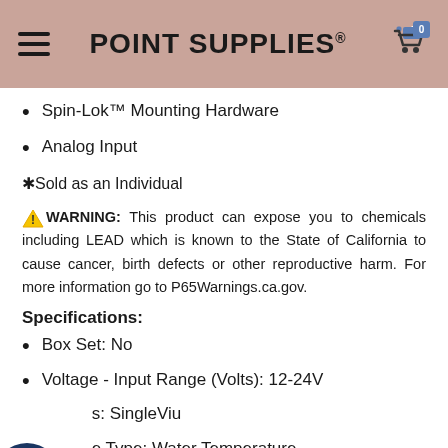POINT SUPPLIES®
Spin-Lok™ Mounting Hardware
Analog Input
✱Sold as an Individual
⚠ WARNING: This product can expose you to chemicals including LEAD which is known to the State of California to cause cancer, birth defects or other reproductive harm. For more information go to P65Warnings.ca.gov.
Specifications:
Box Set: No
Voltage - Input Range (Volts): 12-24V
s: SingleViu
e Type: Water Temperature
Gauge Size: 52mm